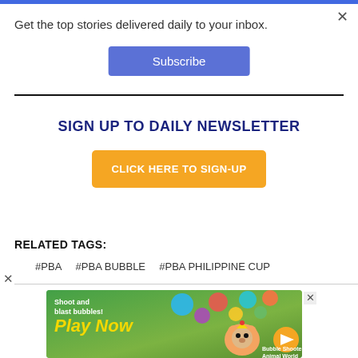Get the top stories delivered daily to your inbox.
Subscribe
SIGN UP TO DAILY NEWSLETTER
CLICK HERE TO SIGN-UP
RELATED TAGS:
#PBA
#PBA BUBBLE
#PBA PHILIPPINE CUP
[Figure (illustration): Mobile game advertisement banner with green bubble shooter game art. Shows 'Shoot and blast bubbles! Play Now' text with cartoon bear character. Subtitle: Bubble Shooter Animal World.]